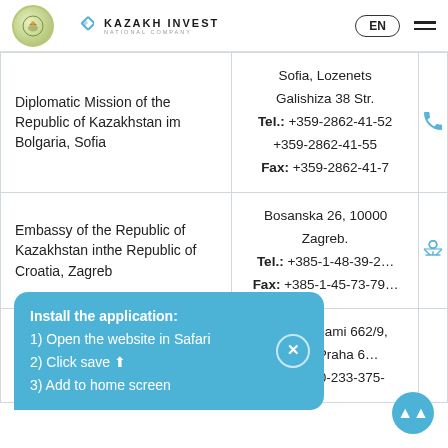KAZAKH INVEST NATIONAL COMPANY | EN
| Organization | Address/Contact |
| --- | --- |
| Diplomatic Mission of the Republic of Kazakhstan im Bolgaria, Sofia | Sofia, Lozenets Galishiza 38 Str.
Tel.: +359-2862-41-52 +359-2862-41-55
Fax: +359-2862-41-7... |
| Embassy of the Republic of Kazakhstan inthe Republic of Croatia, Zagreb | Bosanska 26, 10000 Zagreb.
Tel.: +385-1-48-39-2...
Fax: +385-1-45-73-79... |
| ...of Kazakhstan inthe | Pod hradbami 662/9, 160 00 Praha 6...
Tel.: +420-233-375-... |
Install the application:
1) Open the website in Safari
2) Click save
3) Add to home screen